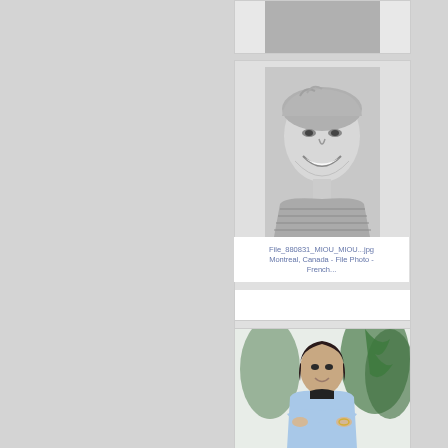[Figure (photo): Top card partially visible - photo cut off at top of page]
[Figure (photo): Black and white close-up photo of a smiling blonde woman with short hair]
File_880831_MIOU_MIOU...jpg Montreal, Canada - File Photo - French...
[Figure (photo): Color photo of a dark-haired woman in a light blue blazer with arms crossed, standing in front of plants]
FILE_FEM_Miou_Miou_S...jpg